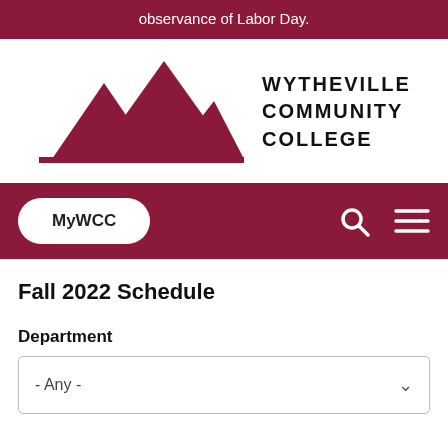observance of Labor Day.
[Figure (logo): Wytheville Community College logo with mountain silhouettes in maroon]
WYTHEVILLE COMMUNITY COLLEGE
MyWCC
Fall 2022 Schedule
Department
- Any -